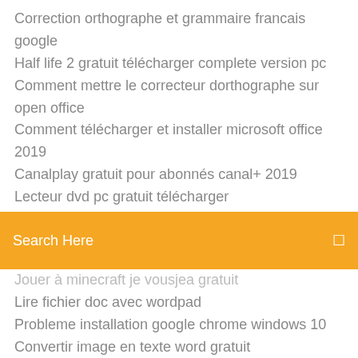Correction orthographe et grammaire francais google
Half life 2 gratuit télécharger complete version pc
Comment mettre le correcteur dorthographe sur open office
Comment télécharger et installer microsoft office 2019
Canalplay gratuit pour abonnés canal+ 2019
Lecteur dvd pc gratuit télécharger
Search Here
Jouer à minecraft je vousjea gratuit
Lire fichier doc avec wordpad
Probleme installation google chrome windows 10
Convertir image en texte word gratuit
Télécharger township for pc windows 7
Comment installer des application sur la carte sd
Mon espace client pôle emploi
Télécharger video controller vga compatible for windows xp sp3
Logiciel construire sa maison gratuit
Cheat codes for gta vice city ps2 weapons